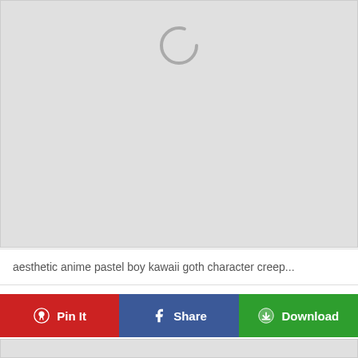[Figure (photo): Large gray placeholder image card with a loading spinner icon (circle) centered near the top]
aesthetic anime pastel boy kawaii goth character creep...
[Figure (infographic): Three action buttons in a row: red 'Pin It' with Pinterest logo, blue 'Share' with Facebook logo, green 'Download' with cloud-download icon]
[Figure (photo): Second gray placeholder image card at the bottom of the page]